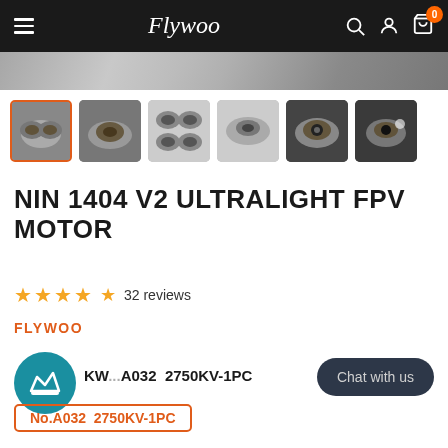Flywoo — Navigation header with logo, search, account, and cart icons
[Figure (photo): Hero product image strip at top — blurred gray/silver background]
[Figure (photo): Thumbnail gallery of 6 motor product images; first thumbnail selected with orange border]
NIN 1404 V2 ULTRALIGHT FPV MOTOR
★★★★★ 32 reviews
FLYWOO
KW...A032 2750KV-1PC
No.A032 2750KV-1PC